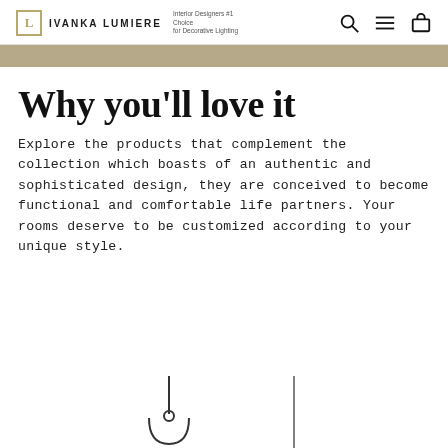IVANKA LUMIERE — Interior Designers #1 Choice for Decorative Lighting
Why you'll love it
Explore the products that complement the collection which boasts of an authentic and sophisticated design, they are conceived to become functional and comfortable life partners. Your rooms deserve to be customized according to your unique style.
[Figure (photo): Two decorative pendant lamp silhouettes partially visible at the bottom of the page]